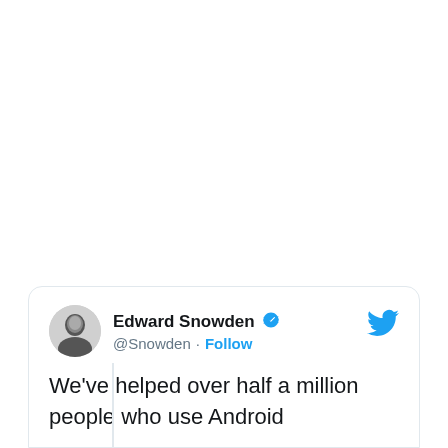[Figure (screenshot): Tweet card from Edward Snowden (@Snowden) with verified badge and Follow button. Tweet text begins: "We've helped over half a million people who use Android...". Twitter bird logo in top right of card.]